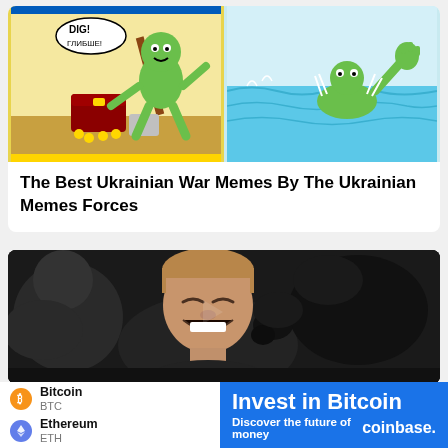[Figure (illustration): Two cartoon/meme images side by side: left shows a cartoon character with a shovel and treasure chest (Ukraine meme style), right shows a cartoon frog swimming in water]
The Best Ukrainian War Memes By The Ukrainian Memes Forces
[Figure (photo): Video thumbnail showing a young man laughing/reacting with a dark-colored dog biting or playing with him, both in a dark room setting]
[Figure (infographic): Advertisement banner for Coinbase: left white section shows Bitcoin (BTC) and Ethereum (ETH) with their icons; right blue section shows 'Invest in Bitcoin', 'Discover the future of money', and 'coinbase.' branding]